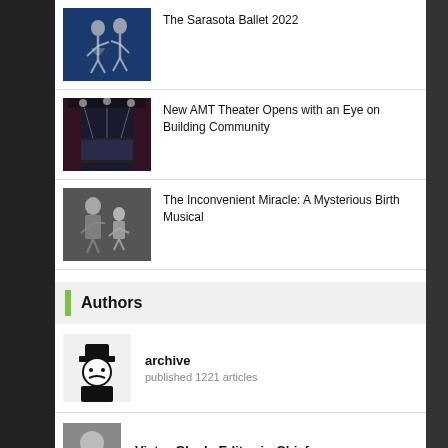The Sarasota Ballet 2022
New AMT Theater Opens with an Eye on Building Community
The Inconvenient Miracle: A Mysterious Birth Musical
Authors
archive
published 1221 articles
Victor Gluck, Editor-in-Chief